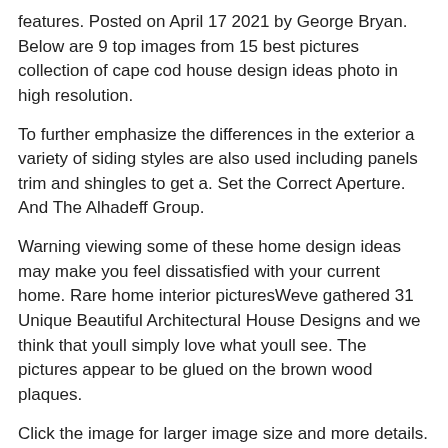features. Posted on April 17 2021 by George Bryan. Below are 9 top images from 15 best pictures collection of cape cod house design ideas photo in high resolution.
To further emphasize the differences in the exterior a variety of siding styles are also used including panels trim and shingles to get a. Set the Correct Aperture. And The Alhadeff Group.
Warning viewing some of these home design ideas may make you feel dissatisfied with your current home. Rare home interior picturesWeve gathered 31 Unique Beautiful Architectural House Designs and we think that youll simply love what youll see. The pictures appear to be glued on the brown wood plaques.
Click the image for larger image size and more details. A collection of black and white artwork adds personality to this brand new home. 5 out of 5 stars.
Hips Gables and Towers Oh My. In reviewing old photos for our site weve always set aside those that give a glimpse of what daily life could have been like in these houses in the late 1800s and early 1900s. They look like the artist Hendrick Hark Boom who featured a